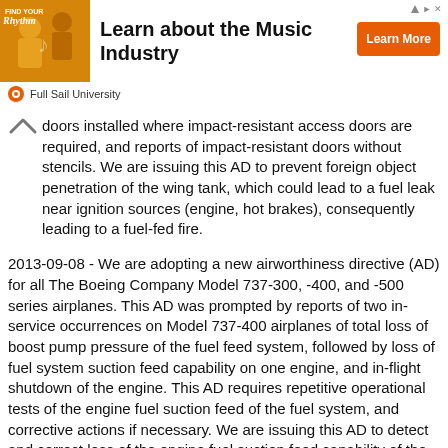[Figure (other): Advertisement banner for Full Sail University: 'Learn about the Music Industry' with Learn More button and brand logo]
doors installed where impact-resistant access doors are required, and reports of impact-resistant doors without stencils. We are issuing this AD to prevent foreign object penetration of the wing tank, which could lead to a fuel leak near ignition sources (engine, hot brakes), consequently leading to a fuel-fed fire.
2013-09-08 - We are adopting a new airworthiness directive (AD) for all The Boeing Company Model 737-300, -400, and -500 series airplanes. This AD was prompted by reports of two in-service occurrences on Model 737-400 airplanes of total loss of boost pump pressure of the fuel feed system, followed by loss of fuel system suction feed capability on one engine, and in-flight shutdown of the engine. This AD requires repetitive operational tests of the engine fuel suction feed of the fuel system, and corrective actions if necessary. We are issuing this AD to detect and correct loss of the engine fuel suction feed capability of the fuel system, which, in the event of total loss of the fuel boost pumps, could result in dual engine flameout, inability to restart the engines, and consequent forced landing of the airplane.
2013-18-13+R1 - We are revising an existing airworthiness directive (AD) for all The Boeing Company Model 737-100, -200, -200C, -300, -400, and -500 series airplanes. That AD currently requires repetitive